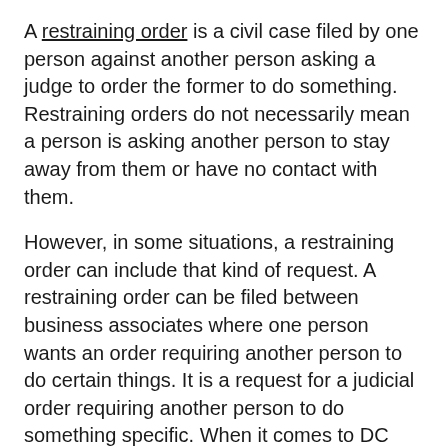A restraining order is a civil case filed by one person against another person asking a judge to order the former to do something. Restraining orders do not necessarily mean a person is asking another person to stay away from them or have no contact with them.
However, in some situations, a restraining order can include that kind of request. A restraining order can be filed between business associates where one person wants an order requiring another person to do certain things. It is a request for a judicial order requiring another person to do something specific. When it comes to DC restraining orders, a skilled domestic violence attorney can help you understand the details, know how to proceed, and guide and advise you as you navigate the legal system.
What are the differences between Restraining and Civil Orders of Protection?